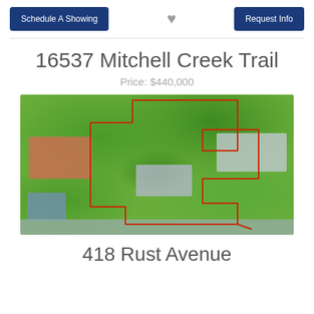Schedule A Showing | ♥ | Request Info
16537 Mitchell Creek Trail
Price: $440,000
[Figure (photo): Aerial drone photo of property at 16537 Mitchell Creek Trail showing a suburban lot outlined in red, surrounded by trees and neighboring homes.]
418 Rust Avenue